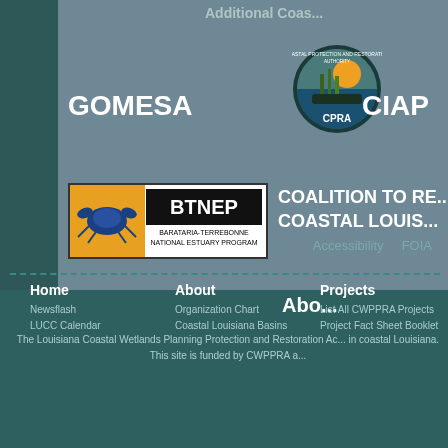Additional Coas...
[Figure (logo): CPRA - Coastal Protection and Restoration Authority circular logo]
GOMESA
CIAP
[Figure (logo): BTNEP - Barataria-Terrebonne National Estuary Program logo with blue crab]
Coalition to Re... Coastal Louis...
Abo...
The Louisiana Coastal Wetlands Planning Protection and Restoration Ac... in coastal Louisiana. This site is funded by CWPPRA a...
Accessibility   FOIA
Home
Newsflash
LUCC Calendar
About
Organization Chart
Coastal Louisiana Basins
Projects
List All CWPPRA Projects
Project Fact Sheet Booklet